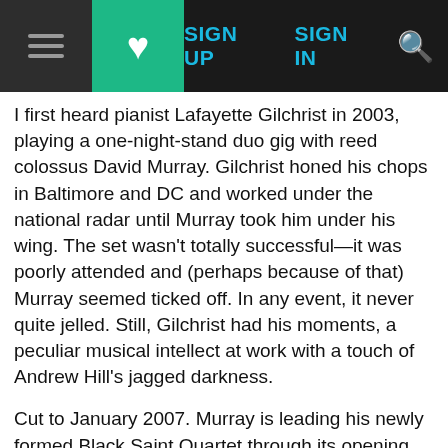[navigation bar: hamburger menu, heart/bookmark button (green), SIGN UP, SIGN IN, search icon]
I first heard pianist Lafayette Gilchrist in 2003, playing a one-night-stand duo gig with reed colossus David Murray. Gilchrist honed his chops in Baltimore and DC and worked under the national radar until Murray took him under his wing. The set wasn't totally successful—it was poorly attended and (perhaps because of that) Murray seemed ticked off. In any event, it never quite jelled. Still, Gilchrist had his moments, a peculiar musical intellect at work with a touch of Andrew Hill's jagged darkness.
Cut to January 2007. Murray is leading his newly formed Black Saint Quartet through its opening set at Jazz Standard and my mouth is agape—it may be the most perfect set I've heard in 25 years of attending jazz. And Gilchrist, as much as established geniuses